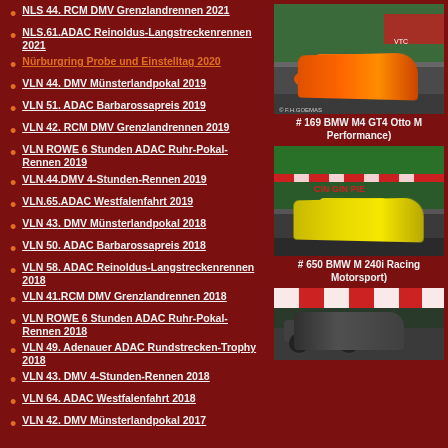NLS 44. RCM DMV Grenzlandrennen 2021
NLS.61.ADAC Reinoldus-Langstreckenrennen 2021
Nürburgring Probe und Einstelltag 2020
VLN 44. DMV Münsterlandpokal 2019
VLN 51. ADAC Barbarossapreis 2019
VLN 42. RCM DMV Grenzlandrennen 2019
VLN ROWE 6 Stunden ADAC Ruhr-Pokal-Rennen 2019
VLN.44.DMV 4-Stunden-Rennen 2019
VLN.65.ADAC Westfalenfahrt 2019
VLN 43. DMV Münsterlandpokal 2018
VLN 50. ADAC Barbarossapreis 2018
VLN 58. ADAC Reinoldus-Langstreckenrennen 2018
VLN 41.RCM DMV Grenzlandrennen 2018
VLN ROWE 6 Stunden ADAC Ruhr-Pokal-Rennen 2018
VLN 49. Adenauer ADAC Rundstrecken-Trophy 2018
VLN 43. DMV 4-Stunden-Rennen 2018
VLN 64. ADAC Westfalenfahrt 2018
VLN 42. DMV Münsterlandpokal 2017
[Figure (photo): Orange BMW M4 GT4 racing car on track]
# 169 BMW M4 GT4 Otto M Performance)
[Figure (photo): Yellow BMW M 240i Racing car on track]
# 650 BMW M 240i Racing Motorsport)